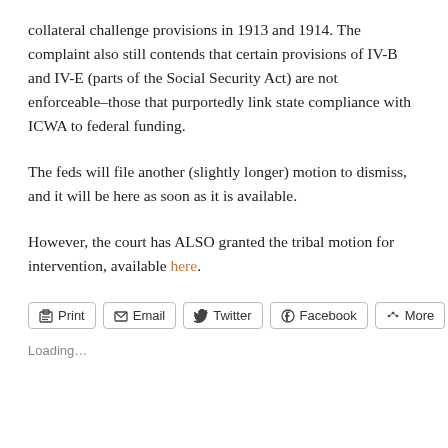collateral challenge provisions in 1913 and 1914. The complaint also still contends that certain provisions of IV-B and IV-E (parts of the Social Security Act) are not enforceable–those that purportedly link state compliance with ICWA to federal funding.
The feds will file another (slightly longer) motion to dismiss, and it will be here as soon as it is available.
However, the court has ALSO granted the tribal motion for intervention, available here.
Print  Email  Twitter  Facebook  More
Loading...